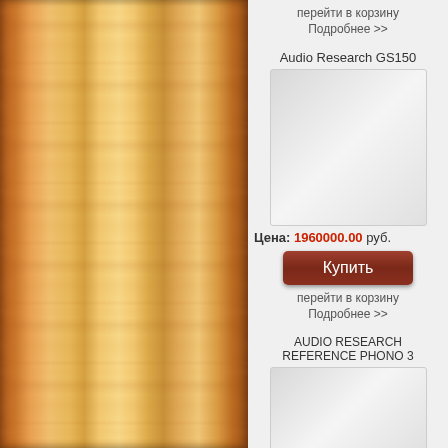[Figure (photo): Wooden decorative panel/column with warm orange-brown wood grain texture, narrow vertical panel with dark borders]
перейти в корзину
Подробнее >>
Audio Research GS150
[Figure (photo): Product image placeholder for Audio Research GS150]
Цена: 1960000.00 руб.
Купить
перейти в корзину
Подробнее >>
AUDIO RESEARCH REFERENCE PHONO 3
[Figure (photo): Product image placeholder for Audio Research Reference Phono 3]